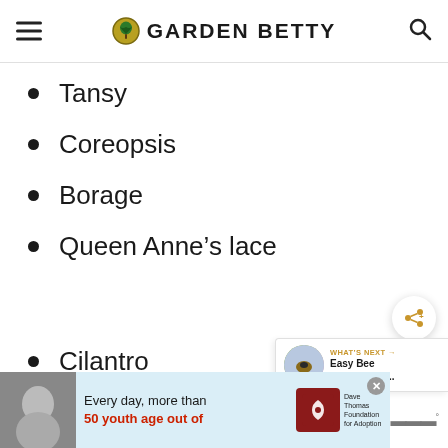GARDEN BETTY
Tansy
Coreopsis
Borage
Queen Anne's lace
Cilantro
Parsley